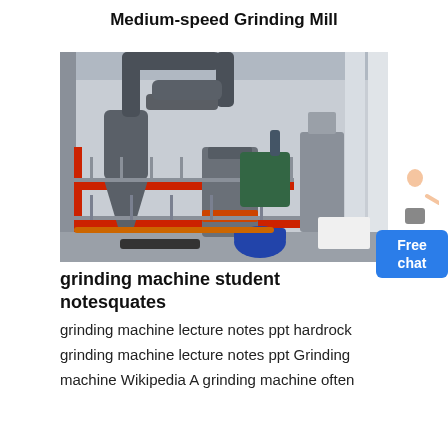Medium-speed Grinding Mill
[Figure (photo): Industrial medium-speed grinding mill installation in a large factory building. Shows large grey cylindrical mill with pipe ducts, cone-shaped dust collector, red structural frame, walkways, and blue motor at base.]
grinding machine student notesquates
grinding machine lecture notes ppt hardrock grinding machine lecture notes ppt Grinding machine Wikipedia A grinding machine often